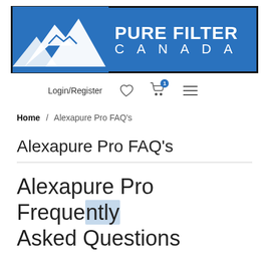[Figure (logo): Pure Filter Canada logo: blue rectangle with white mountain silhouette on left, white text 'PURE FILTER CANADA' on right]
Login/Register [heart icon] [cart icon with badge 1] [menu icon]
Home / Alexapure Pro FAQ's
Alexapure Pro FAQ's
Alexapure Pro Frequently Asked Questions